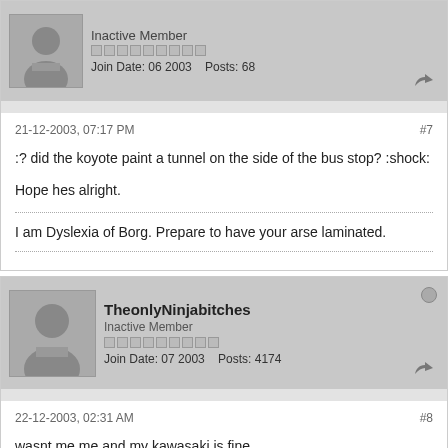Inactive Member
Join Date: 06 2003  Posts: 68
21-12-2003, 07:17 PM
#7
:? did the koyote paint a tunnel on the side of the bus stop? :shock:

Hope hes alright.
I am Dyslexia of Borg. Prepare to have your arse laminated.
TheonlyNinjabitches
Inactive Member
Join Date: 07 2003  Posts: 4174
22-12-2003, 02:31 AM
#8
wasnt me me and my kawasaki is fine
la Borg le...